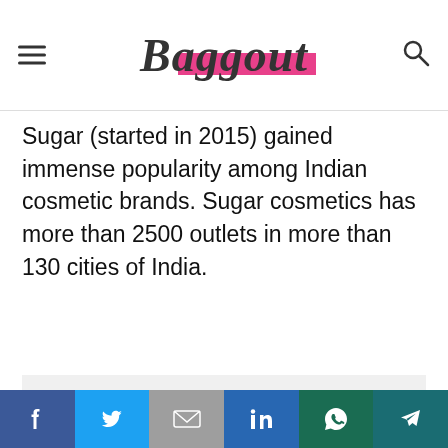Baggout (logo with hamburger menu and search icon)
Sugar (started in 2015) gained immense popularity among Indian cosmetic brands. Sugar cosmetics has more than 2500 outlets in more than 130 cities of India.
[Figure (other): Advertisement placeholder block (light grey rectangle)]
Social share bar with icons: Facebook, Twitter, Gmail, LinkedIn, WhatsApp, Telegram